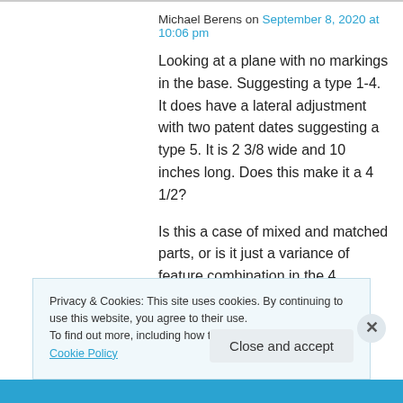Michael Berens on September 8, 2020 at 10:06 pm
Looking at a plane with no markings in the base. Suggesting a type 1-4. It does have a lateral adjustment with two patent dates suggesting a type 5. It is 2 3/8 wide and 10 inches long. Does this make it a 4 1/2?

Is this a case of mixed and matched parts, or is it just a variance of feature combination in the 4
Privacy & Cookies: This site uses cookies. By continuing to use this website, you agree to their use.
To find out more, including how to control cookies, see here: Cookie Policy
Close and accept